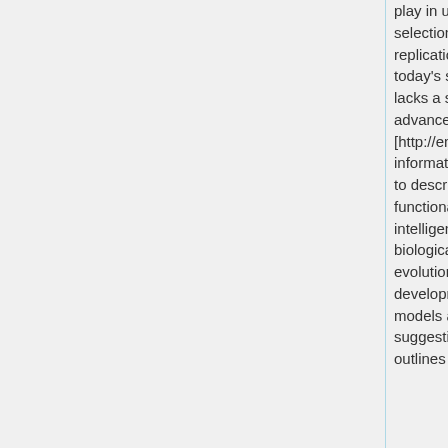play in universe selection and replication. While today's science lacks a sufficiently advanced [http://en.wikipedia.org/wiki/Information_theory information theory] to describe the functional role of intelligence in biological evolutionary development, CNS-I models are at least suggestive of the outlines of a such an
play in universe selection and replication. While today's science lacks a sufficiently advanced [http://en.wikipedia.org/wiki/Information_theory information theory] to describe the functional role of intelligence in biological evolutionary development, CNS-I models are at least suggestive of the outlines of a such an